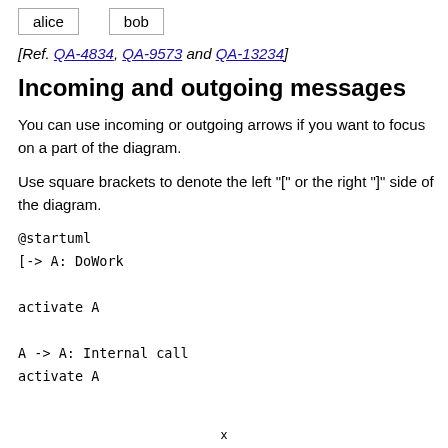[Figure (other): Two labeled boxes side by side: 'alice' and 'bob']
[Ref. QA-4834, QA-9573 and QA-13234]
Incoming and outgoing messages
You can use incoming or outgoing arrows if you want to focus on a part of the diagram.
Use square brackets to denote the left "[" or the right "]" side of the diagram.
@startuml
[-> A: DoWork

activate A

A -> A: Internal call
activate A